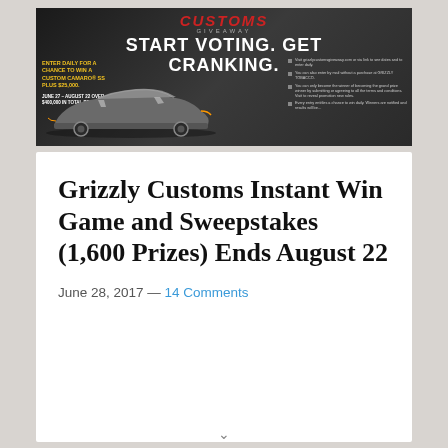[Figure (infographic): Grizzly Customs Giveaway promotional banner with dark background, red 'CUSTOMS' logo text, 'START VOTING. GET CRANKING.' headline in white, yellow entry text on left, silver Camaro car in center, bullet points on right.]
Grizzly Customs Instant Win Game and Sweepstakes (1,600 Prizes) Ends August 22
June 28, 2017 — 14 Comments